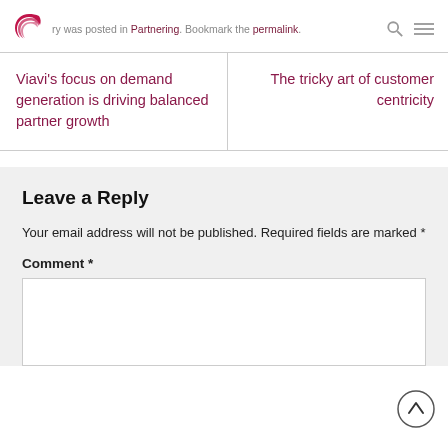ry was posted in Partnering. Bookmark the permalink.
Viavi's focus on demand generation is driving balanced partner growth
The tricky art of customer centricity
Leave a Reply
Your email address will not be published. Required fields are marked *
Comment *